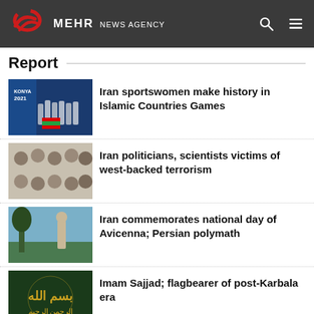MEHR NEWS AGENCY
Report
[Figure (photo): Group of Iranian sportswomen at Konya 2021 Islamic Countries Games holding Iranian flag]
Iran sportswomen make history in Islamic Countries Games
[Figure (photo): Collage of Iranian politicians and scientists who were victims of terrorism]
Iran politicians, scientists victims of west-backed terrorism
[Figure (photo): Statue of Avicenna surrounded by trees and sky]
Iran commemorates national day of Avicenna; Persian polymath
[Figure (photo): Dark green background with Arabic calligraphy golden text]
Imam Sajjad; flagbearer of post-Karbala era
Latest News
US says it has received Iran's response via EU coordinator
2022-09-02 11:46